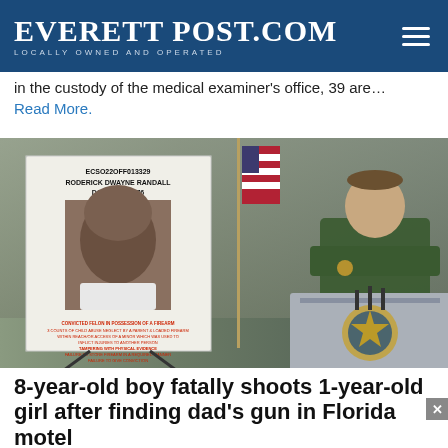EVERETT POST.COM — LOCALLY OWNED AND OPERATED
in the custody of the medical examiner's office, 39 are…
Read More.
[Figure (photo): Press conference showing a mugshot board for ECSO22OFF013329 RODERICK DWAYNE RANDALL DOB 10/23/1976 on an easel, with an American flag and a sheriff officer in green uniform speaking at a podium bearing a sheriff star badge.]
8-year-old boy fatally shoots 1-year-old girl after finding dad's gun in Florida motel
Tuesday, June 28 by ABC News
(PENSACOLA, Fla.) -- A 45-year-old man was arrested